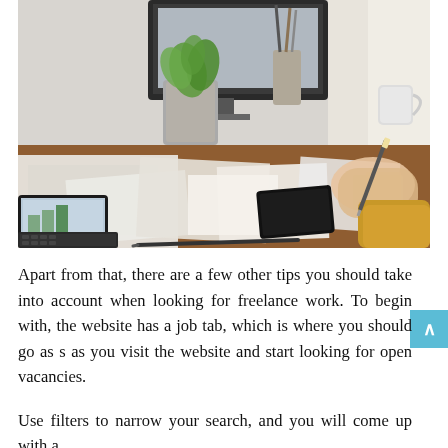[Figure (photo): A person in a yellow/mustard sweater writing notes at a wooden desk cluttered with papers, sketches and documents. A tablet with keyboard, pencil holder, potted plant, and monitor are visible in the background.]
Apart from that, there are a few other tips you should take into account when looking for freelance work. To begin with, the website has a job tab, which is where you should go as s as you visit the website and start looking for open vacancies.
Use filters to narrow your search, and you will come up with a